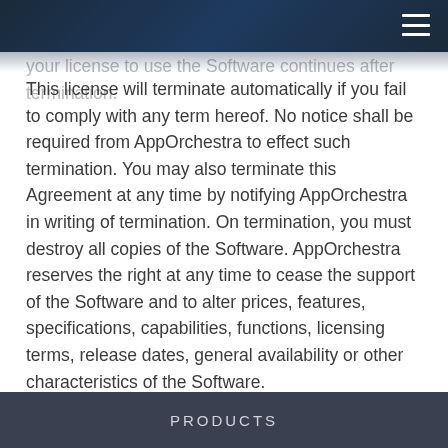your license to use the Software continues after termination. This license will terminate automatically if you fail to comply with any term hereof. No notice shall be required from AppOrchestra to effect such termination. You may also terminate this Agreement at any time by notifying AppOrchestra in writing of termination. On termination, you must destroy all copies of the Software. AppOrchestra reserves the right at any time to cease the support of the Software and to alter prices, features, specifications, capabilities, functions, licensing terms, release dates, general availability or other characteristics of the Software.
PRODUCTS